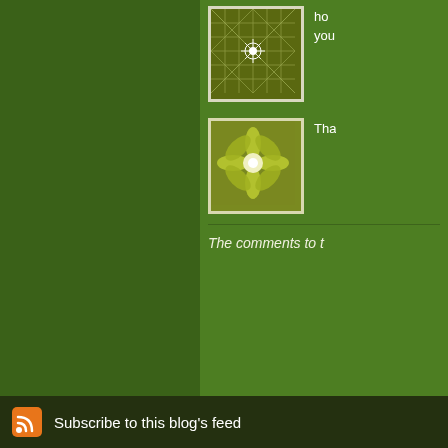[Figure (screenshot): Green blog webpage screenshot showing right sidebar with two thumbnail images with decorative geometric/floral patterns, partial text content, a card section, and a footer with RSS subscribe link. Left portion shows dark green background.]
ho... you...
[Figure (illustration): Decorative geometric grid pattern thumbnail with white star/snowflake center on dark olive/green background]
Tha...
[Figure (illustration): Decorative floral/leaf pattern thumbnail with yellow-green petals radiating from white center on olive green background]
The comments to t...
Pi...
Home to My Henn... but Missoula has th... dog-sitter extraordi...
Subscribe to this blog's feed